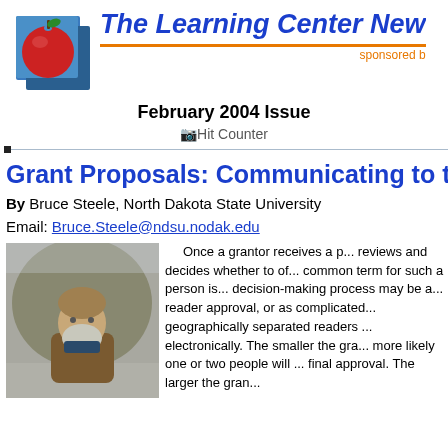[Figure (logo): The Learning Center Newsletter logo with apple graphic on blue/teal square background, and italic bold blue title text 'The Learning Center New...' with orange 'sponsored b...' subtitle and orange horizontal bar]
February 2004 Issue
[Figure (other): Hit Counter image placeholder]
Grant Proposals: Communicating to th...
By Bruce Steele, North Dakota State University
Email: Bruce.Steele@ndsu.nodak.edu
[Figure (photo): Photo of a man with a beard standing outdoors in winter, wearing a brown jacket]
Once a grantor receives a p... reviews and decides whether to of... common term for such a person is... decision-making process may be a... reader approval, or as complicated... geographically separated readers ... electronically. The smaller the gra... more likely one or two people will ... final approval. The larger the gran...